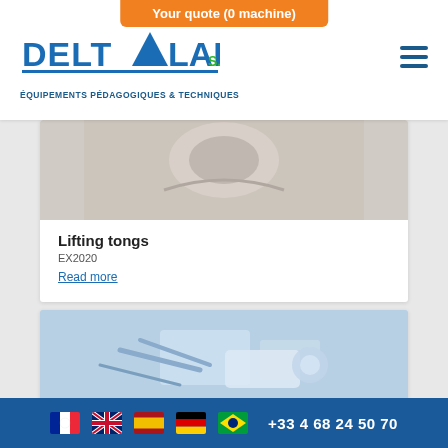[Figure (logo): Deltalab logo with triangle and 'ÉQUIPEMENTS PÉDAGOGIQUES & TECHNIQUES' tagline]
Your quote (0 machine)
[Figure (photo): Lifting tongs product image]
Lifting tongs
EX2020
Read more
[Figure (photo): Machine/equipment product image with mechanical arms]
Language flags (French, English, Spanish, German, Brazilian) and phone number +33 4 68 24 50 70